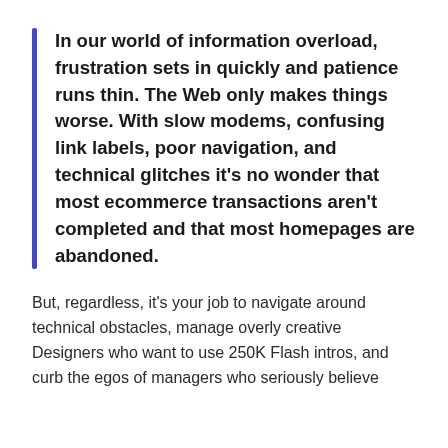In our world of information overload, frustration sets in quickly and patience runs thin. The Web only makes things worse. With slow modems, confusing link labels, poor navigation, and technical glitches it's no wonder that most ecommerce transactions aren't completed and that most homepages are abandoned.
But, regardless, it's your job to navigate around technical obstacles, manage overly creative Designers who want to use 250K Flash intros, and curb the egos of managers who seriously believe